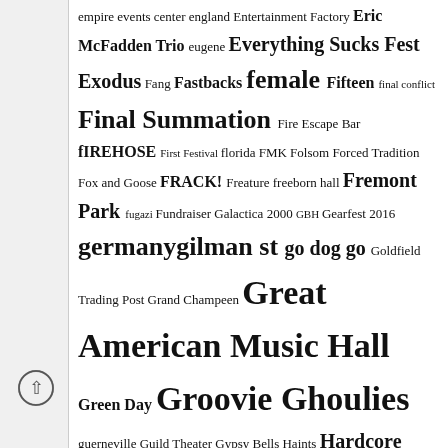empire events center england Entertainment Factory Eric McFadden Trio eugene Everything Sucks Fest Exodus Fang Fastbacks female Fifteen final conflict Final Summation Fire Escape Bar fIREHOSE First Festival florida FMK Folsom Forced Tradition Fox and Goose FRACK! Freature freeborn hall Fremont Park fugazi Fundraiser Galactica 2000 GBH Gearfest 2016 germany gilman st go dog go Goldfield Trading Post Grand Champeen Great American Music Hall Green Day Groovie Ghoulies guerneville Guild Theater Gypsy Bells Haints Hardcore hardcore punk Harlow's Harm Farm henry rollins HiFi Rockfest hole in the wall holland Hollywood Holy Diver HOODS Horny Mormons Hot Spit Dancers House Of Monkey Ian Faith Identity Crysis IGD illinois indie Isocracy It's Not What You Think Ivy Room Jackpot Javalounge jawbreaker jeff hanneman Jello Biafra & The Guantanamo School of Medicine Jesus And The Dinosaurs